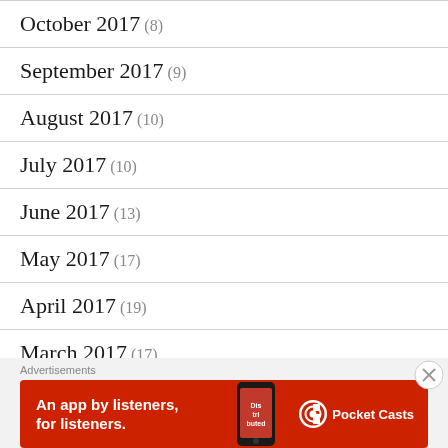October 2017 (8)
September 2017 (9)
August 2017 (10)
July 2017 (10)
June 2017 (13)
May 2017 (17)
April 2017 (19)
March 2017 (17)
February 2017 (8)
[Figure (infographic): Pocket Casts advertisement banner: red background with text 'An app by listeners, for listeners.' and Pocket Casts logo, with a phone image showing the Distributed podcast cover]